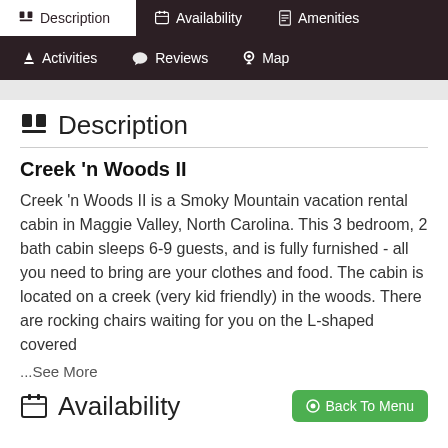Description | Availability | Amenities | Activities | Reviews | Map
Description
Creek 'n Woods II
Creek 'n Woods II is a Smoky Mountain vacation rental cabin in Maggie Valley, North Carolina. This 3 bedroom, 2 bath cabin sleeps 6-9 guests, and is fully furnished - all you need to bring are your clothes and food. The cabin is located on a creek (very kid friendly) in the woods. There are rocking chairs waiting for you on the L-shaped covered ...See More
Availability